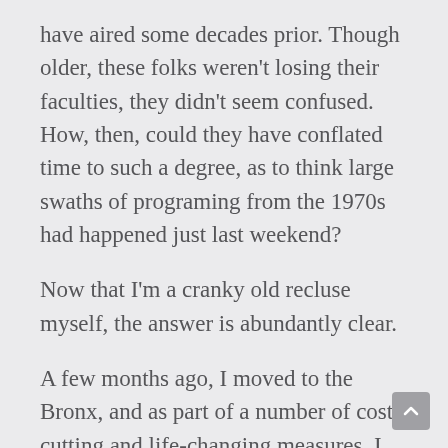have aired some decades prior. Though older, these folks weren't losing their faculties, they didn't seem confused. How, then, could they have conflated time to such a degree, as to think large swaths of programing from the 1970s had happened just last weekend?
Now that I'm a cranky old recluse myself, the answer is abundantly clear.
A few months ago, I moved to the Bronx, and as part of a number of cost-cutting and life-changing measures, I got rid of cable. Despite living in the so-called